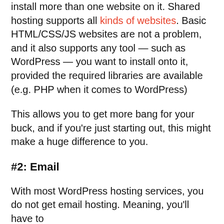install more than one website on it. Shared hosting supports all kinds of websites. Basic HTML/CSS/JS websites are not a problem, and it also supports any tool — such as WordPress — you want to install onto it, provided the required libraries are available (e.g. PHP when it comes to WordPress)
This allows you to get more bang for your buck, and if you're just starting out, this might make a huge difference to you.
#2: Email
With most WordPress hosting services, you do not get email hosting. Meaning, you'll have to